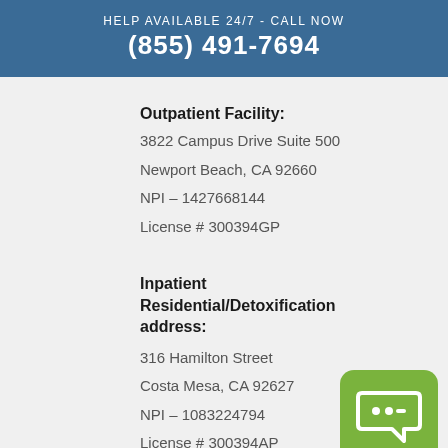HELP AVAILABLE 24/7 - CALL NOW
(855) 491-7694
Outpatient Facility:
3822 Campus Drive Suite 500
Newport Beach, CA 92660
NPI – 1427668144
License # 300394GP
Inpatient Residential/Detoxification address:
316 Hamilton Street
Costa Mesa, CA 92627
NPI – 1083224794
License # 300394AP
[Figure (illustration): Green rounded square button with a chat bubble icon containing two dots and a dash]